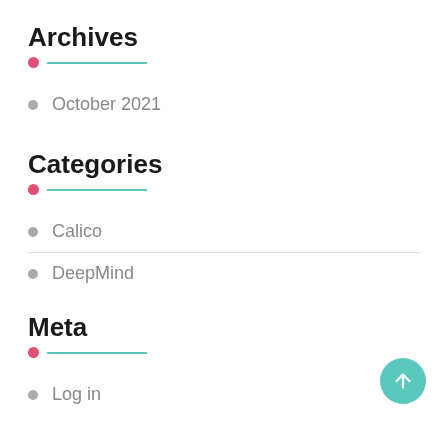Archives
October 2021
Categories
Calico
DeepMind
Meta
Log in